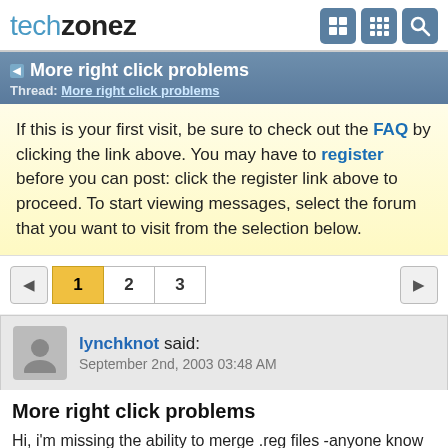techzonez
More right click problems
Thread: More right click problems
If this is your first visit, be sure to check out the FAQ by clicking the link above. You may have to register before you can post: click the register link above to proceed. To start viewing messages, select the forum that you want to visit from the selection below.
1  2  3
lynchknot said:
September 2nd, 2003 03:48 AM
More right click problems
Hi, i'm missing the ability to merge .reg files -anyone know how to get it back? When I left click all it does is open it.